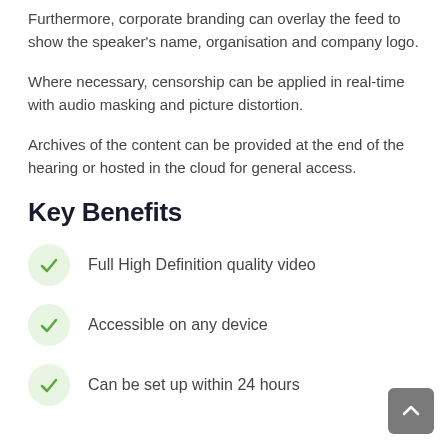Furthermore, corporate branding can overlay the feed to show the speaker's name, organisation and company logo.
Where necessary, censorship can be applied in real-time with audio masking and picture distortion.
Archives of the content can be provided at the end of the hearing or hosted in the cloud for general access.
Key Benefits
Full High Definition quality video
Accessible on any device
Can be set up within 24 hours